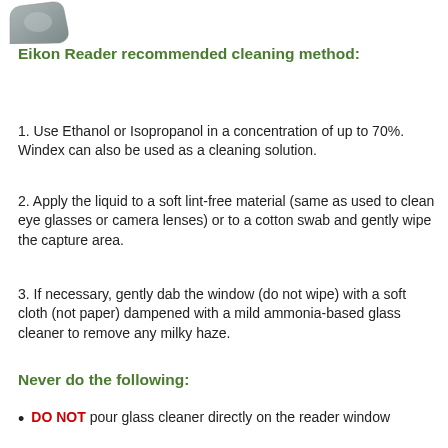[Figure (photo): Partial view of Eikon fingerprint reader device, gray colored, shown at top left corner of page]
Eikon Reader recommended cleaning method:
1. Use Ethanol or Isopropanol in a concentration of up to 70%. Windex can also be used as a cleaning solution.
2. Apply the liquid to a soft lint-free material (same as used to clean eye glasses or camera lenses) or to a cotton swab and gently wipe the capture area.
3. If necessary, gently dab the window (do not wipe) with a soft cloth (not paper) dampened with a mild ammonia-based glass cleaner to remove any milky haze.
Never do the following:
DO NOT pour glass cleaner directly on the reader window